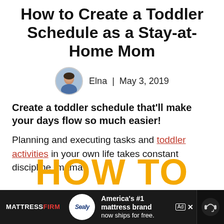How to Create a Toddler Schedule as a Stay-at-Home Mom
Elna | May 3, 2019
Create a toddler schedule that'll make your days flow so much easier!
Planning and executing tasks and toddler activities in your own life takes constant discipline, mama.
[Figure (other): Partial banner with large yellow bold text reading 'HOW TO']
[Figure (other): Advertisement bar at the bottom: MattressFirm logo, Sealy circular logo, text 'America's #1 mattress brand now ships for free.' with ad icon and close button, and a dark right panel with headphone icon]